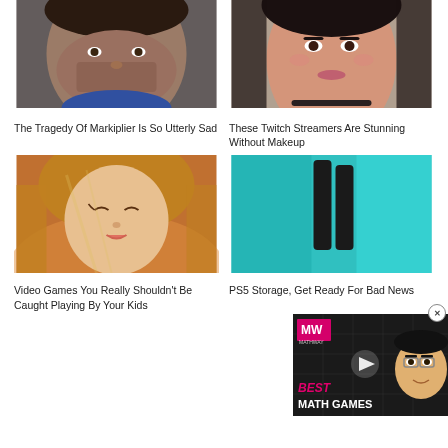[Figure (photo): Close-up photo of a man's face (Markiplier)]
[Figure (photo): Close-up photo of a young woman's face]
The Tragedy Of Markiplier Is So Utterly Sad
These Twitch Streamers Are Stunning Without Makeup
[Figure (illustration): 3D rendered illustration of an anime-style girl]
[Figure (photo): PS5 console image, partially obscured by video ad overlay]
Video Games You Really Shouldn't Be Caught Playing By Your Kids
PS5 Storage, Get Ready For Bad News
[Figure (screenshot): Video ad overlay: MathWay Best Math Games with animated face]